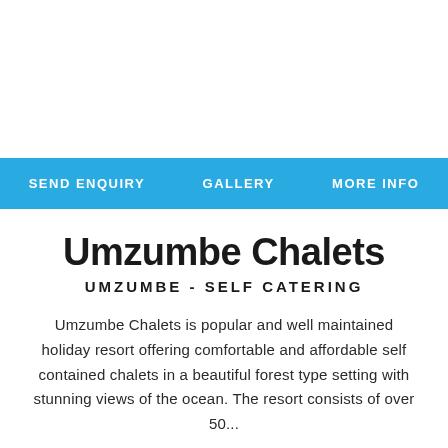SEND ENQUIRY   GALLERY   MORE INFO
Umzumbe Chalets
UMZUMBE - SELF CATERING
Umzumbe Chalets is popular and well maintained holiday resort offering comfortable and affordable self contained chalets in a beautiful forest type setting with stunning views of the ocean. The resort consists of over 50...
Rooms: 50 x 6-Sleeper Chalets